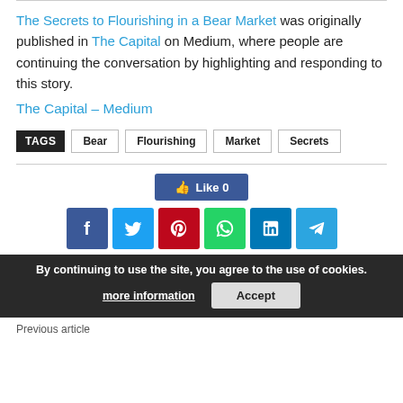The Secrets to Flourishing in a Bear Market was originally published in The Capital on Medium, where people are continuing the conversation by highlighting and responding to this story.
The Capital – Medium
TAGS  Bear  Flourishing  Market  Secrets
[Figure (infographic): Social sharing bar with Facebook Like button (count 0) and social media share buttons: Facebook, Twitter, Pinterest, WhatsApp, LinkedIn, Telegram]
By continuing to use the site, you agree to the use of cookies. more information  Accept
Previous article